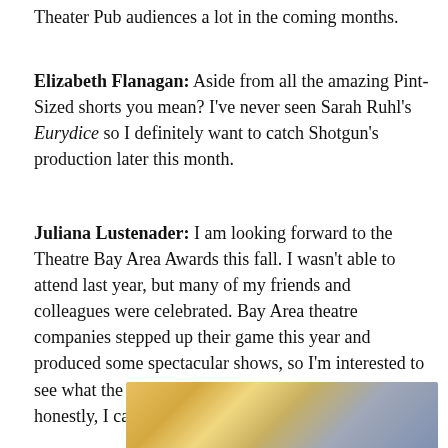Theater Pub audiences a lot in the coming months.
Elizabeth Flanagan: Aside from all the amazing Pint-Sized shorts you mean? I've never seen Sarah Ruhl's Eurydice so I definitely want to catch Shotgun's production later this month.
Juliana Lustenader: I am looking forward to the Theatre Bay Area Awards this fall. I wasn't able to attend last year, but many of my friends and colleagues were celebrated. Bay Area theatre companies stepped up their game this year and produced some spectacular shows, so I'm interested to see what the adjudicators enjoyed most. But more honestly, I can't wait to celebrate with everyone.
[Figure (photo): Partial photo of a person with blonde hair, warm yellow/golden tones on left side and blue-grey background on right side, cropped at bottom of page.]